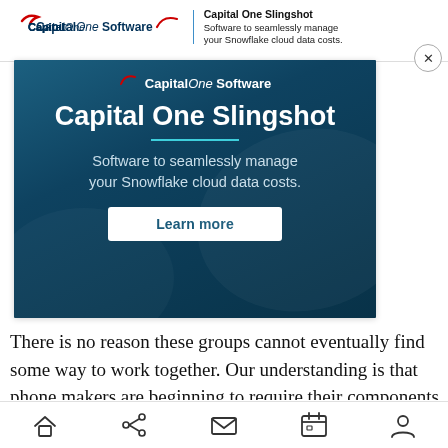[Figure (screenshot): Capital One Software advertisement banner strip at top showing logo, divider, and text 'Capital One Slingshot - Software to seamlessly manage your Snowflake cloud data costs.' with a close (X) button.]
[Figure (screenshot): Capital One Software expanded advertisement block with dark blue gradient background showing logo, headline 'Capital One Slingshot', teal underline, subtext 'Software to seamlessly manage your Snowflake cloud data costs.', and a white 'Learn more' button.]
There is no reason these groups cannot eventually find some way to work together. Our understanding is that phone makers are beginning to require their components to support
Home | Share | Mail | Calendar | Profile